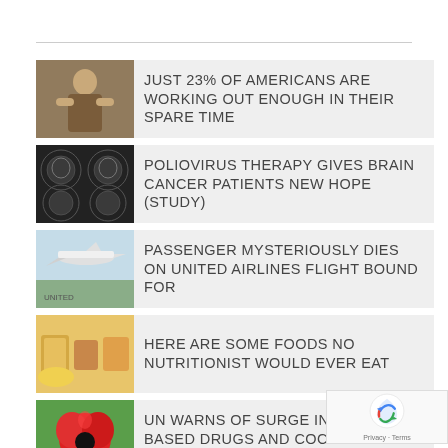JUST 23% OF AMERICANS ARE WORKING OUT ENOUGH IN THEIR SPARE TIME
POLIOVIRUS THERAPY GIVES BRAIN CANCER PATIENTS NEW HOPE (STUDY)
PASSENGER MYSTERIOUSLY DIES ON UNITED AIRLINES FLIGHT BOUND FOR
HERE ARE SOME FOODS NO NUTRITIONIST WOULD EVER EAT
UN WARNS OF SURGE IN OPIUM-BASED DRUGS AND COCAINE SUPPLY
FRENCH JOGGER DETAINED 2 WEEKS F... ACCIDENTALLY CROSSING BORDER